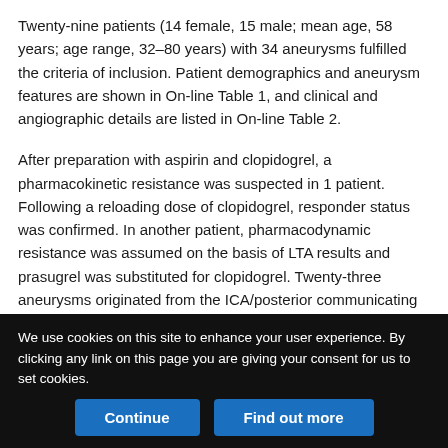Twenty-nine patients (14 female, 15 male; mean age, 58 years; age range, 32–80 years) with 34 aneurysms fulfilled the criteria of inclusion. Patient demographics and aneurysm features are shown in On-line Table 1, and clinical and angiographic details are listed in On-line Table 2.
After preparation with aspirin and clopidogrel, a pharmacokinetic resistance was suspected in 1 patient. Following a reloading dose of clopidogrel, responder status was confirmed. In another patient, pharmacodynamic resistance was assumed on the basis of LTA results and prasugrel was substituted for clopidogrel. Twenty-three aneurysms originated from the ICA/posterior communicating artery; 3, from the anterior cerebral artery; and 8 were located in the
We use cookies on this site to enhance your user experience. By clicking any link on this page you are giving your consent for us to set cookies.